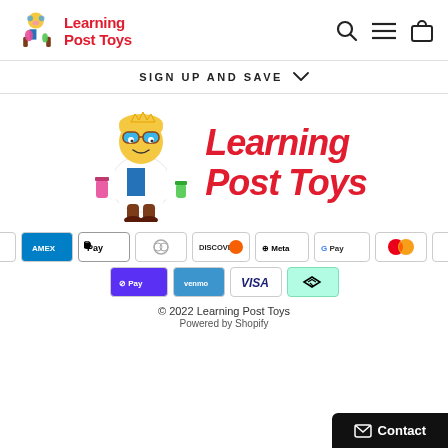[Figure (logo): Learning Post Toys logo in header with cartoon scientist girl character and red bold text]
SIGN UP AND SAVE
[Figure (logo): Large Learning Post Toys logo with cartoon scientist girl holding beakers and red italic bold text 'Learning Post Toys']
[Figure (infographic): Payment method icons: Amazon, Amex, Apple Pay, Diners, Discover, Meta, Google Pay, Mastercard, PayPal, Shop Pay, Venmo, Visa, Afterpay]
© 2022 Learning Post Toys
Powered by Shopify
✉ Contact